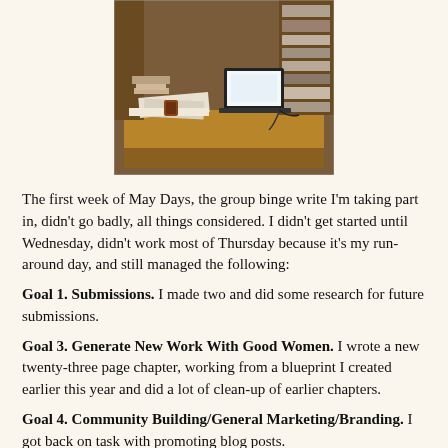[Figure (photo): A cluttered desk with a laptop, papers, files, and office supplies in a wood-paneled room.]
The first week of May Days, the group binge write I'm taking part in, didn't go badly, all things considered. I didn't get started until Wednesday, didn't work most of Thursday because it's my run-around day, and still managed the following:
Goal 1. Submissions. I made two and did some research for future submissions.
Goal 3. Generate New Work With Good Women. I wrote a new twenty-three page chapter, working from a blueprint I created earlier this year and did a lot of clean-up of earlier chapters.
Goal 4. Community Building/General Marketing/Branding. I got back on task with promoting blog posts.